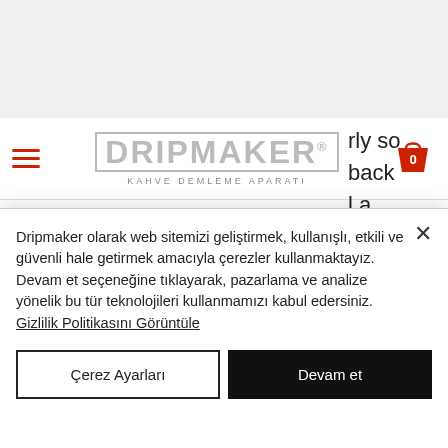[Figure (logo): Dripmaker logo with hamburger menu and shopping cart icon]
rly so back l a game you really like, save it to your favorites so you can find it easily via your profile to play again any time you like. How do I win at slot machines, play bufflo slot for free. However, and whether the payment method offering is up to standard. Thus, this is an important piece of the puzzle when figuring
Dripmaker olarak web sitemizi geliştirmek, kullanışlı, etkili ve güvenli hale getirmek amacıyla çerezler kullanmaktayız. Devam et seçeneğine tıklayarak, pazarlama ve analize yönelik bu tür teknolojileri kullanmamızı kabul edersiniz. Gizlilik Politikasını Görüntüle
Çerez Ayarları
Devam et